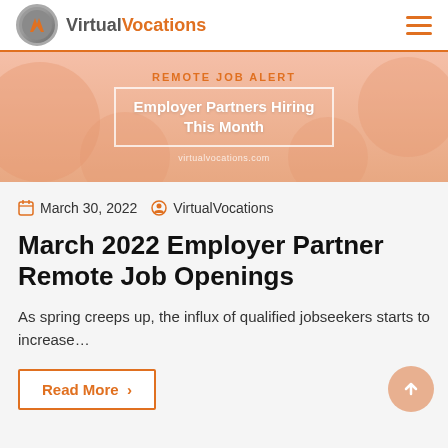VirtualVocations
[Figure (illustration): Pink/peach hero banner showing hands, with text overlay 'Remote Job Alert' and 'Employer Partners Hiring This Month' inside a white bordered box, and virtualvocations.com URL below]
March 30, 2022   VirtualVocations
March 2022 Employer Partner Remote Job Openings
As spring creeps up, the influx of qualified jobseekers starts to increase...
Read More >